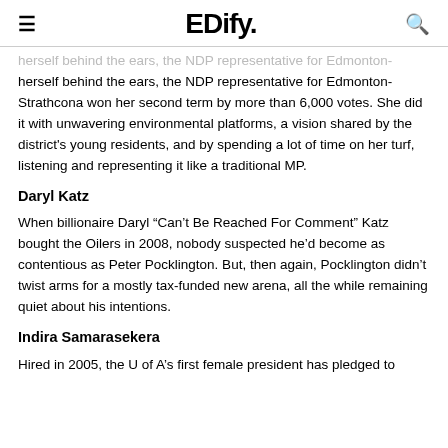EDify.
herself behind the ears, the NDP representative for Edmonton-Strathcona won her second term by more than 6,000 votes. She did it with unwavering environmental platforms, a vision shared by the district’s young residents, and by spending a lot of time on her turf, listening and representing it like a traditional MP.
Daryl Katz
When billionaire Daryl “Can’t Be Reached For Comment” Katz bought the Oilers in 2008, nobody suspected he’d become as contentious as Peter Pocklington. But, then again, Pocklington didn’t twist arms for a mostly tax-funded new arena, all the while remaining quiet about his intentions.
Indira Samarasekera
Hired in 2005, the U of A’s first female president has pledged to